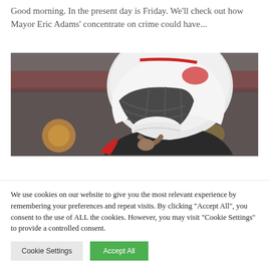Good morning. In the present day is Friday. We'll check out how Mayor Eric Adams' concentrate on crime could have...
[Figure (photo): A football player wearing a white Arizona Cardinals helmet with a face mask, adjusting their chin strap or collar in what appears to be a stadium setting with blurred background lights.]
We use cookies on our website to give you the most relevant experience by remembering your preferences and repeat visits. By clicking "Accept All", you consent to the use of ALL the cookies. However, you may visit "Cookie Settings" to provide a controlled consent.